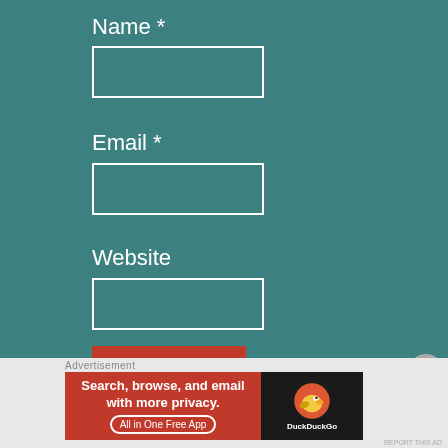Name *
[Figure (other): Empty text input field for Name]
Email *
[Figure (other): Empty text input field for Email]
Website
[Figure (other): Empty text input field for Website]
POST COMMENT
Notify me of new comments via email.
[Figure (infographic): DuckDuckGo advertisement banner: Search, browse, and email with more privacy. All in One Free App]